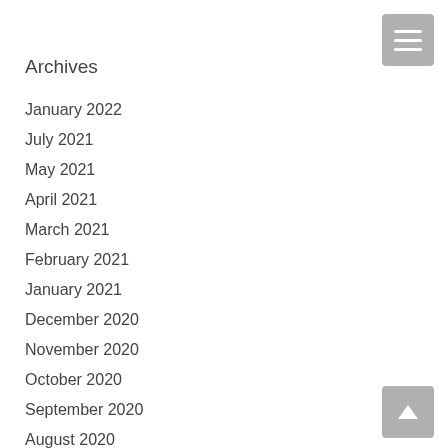Archives
January 2022
July 2021
May 2021
April 2021
March 2021
February 2021
January 2021
December 2020
November 2020
October 2020
September 2020
August 2020
June 2020
May 2020
April 2020